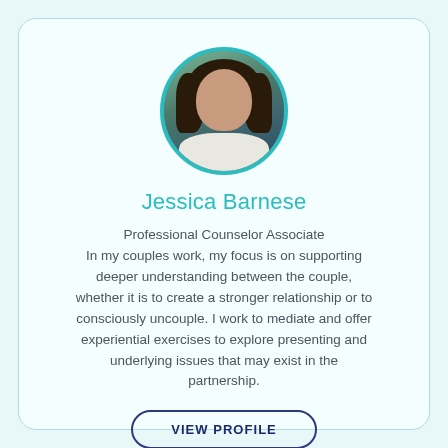[Figure (photo): Circular portrait photo of Jessica Barnese with teal border, woman with curly dark hair]
Jessica Barnese
Professional Counselor Associate
In my couples work, my focus is on supporting deeper understanding between the couple, whether it is to create a stronger relationship or to consciously uncouple. I work to mediate and offer experiential exercises to explore presenting and underlying issues that may exist in the partnership.
VIEW PROFILE